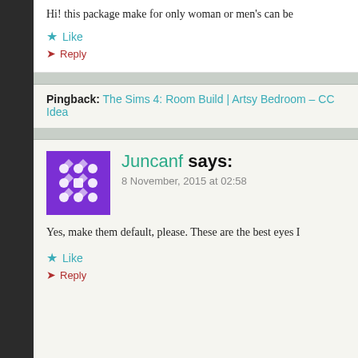Hi! this package make for only woman or men's can be
Like
Reply
Pingback: The Sims 4: Room Build | Artsy Bedroom – CC Idea
Juncanf says:
8 November, 2015 at 02:58
Yes, make them default, please. These are the best eyes I
Like
Reply